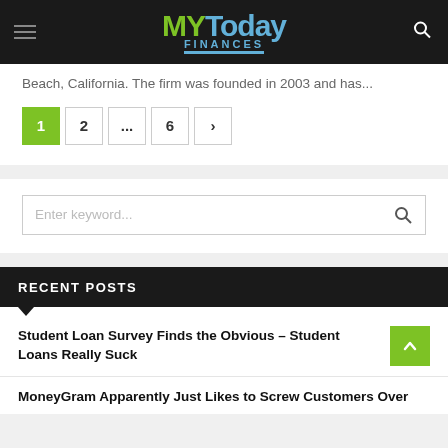MY Today Finances
Beach, California. The firm was founded in 2003 and has...
Pagination: 1 2 ... 6 >
Enter keyword...
RECENT POSTS
Student Loan Survey Finds the Obvious – Student Loans Really Suck
MoneyGram Apparently Just Likes to Screw Customers Over